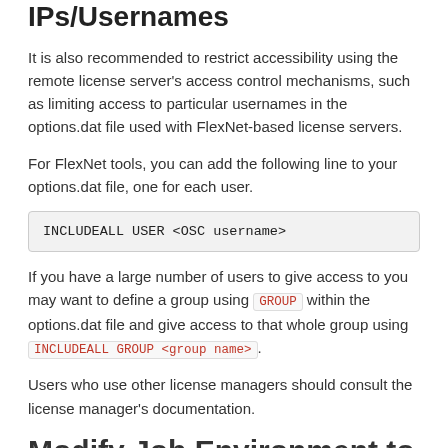IPs/Usernames
It is also recommended to restrict accessibility using the remote license server's access control mechanisms, such as limiting access to particular usernames in the options.dat file used with FlexNet-based license servers.
For FlexNet tools, you can add the following line to your options.dat file, one for each user.
INCLUDEALL USER <OSC username>
If you have a large number of users to give access to you may want to define a group using GROUP within the options.dat file and give access to that whole group using INCLUDEALL GROUP <group name>.
Users who use other license managers should consult the license manager's documentation.
Modify Job Environment to Point at License Server